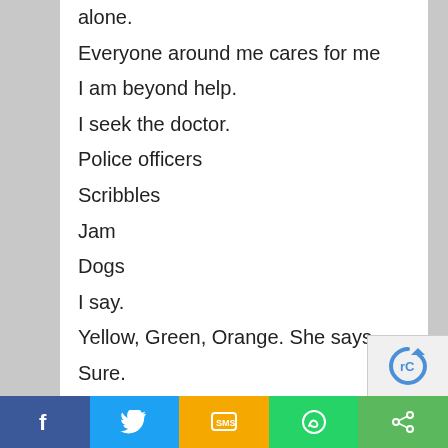alone.
Everyone around me cares for me
I am beyond help.
I seek the doctor.
Police officers
Scribbles
Jam
Dogs
I say.
Yellow, Green, Orange. She says.
Sure.
Thank you doctor.
For you may need to strain to hear the voice of the patient in the thin reed of his crying
Facebook | Twitter | SMS | WhatsApp | Share